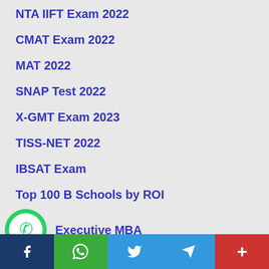NTA IIFT Exam 2022
CMAT Exam 2022
MAT 2022
SNAP Test 2022
X-GMT Exam 2023
TISS-NET 2022
IBSAT Exam
Top 100 B Schools by ROI
Executive MBA
f  ⊕  🐦  ➤  +